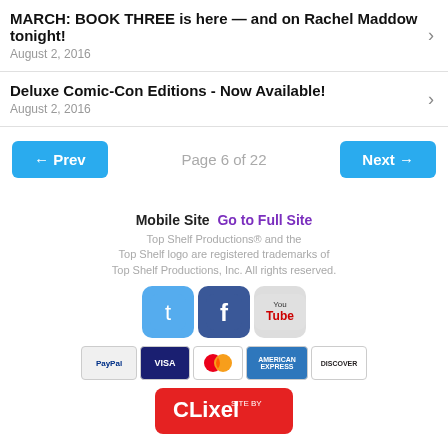MARCH: BOOK THREE is here — and on Rachel Maddow tonight!
August 2, 2016
Deluxe Comic-Con Editions - Now Available!
August 2, 2016
← Prev   Page 6 of 22   Next →
Mobile Site  Go to Full Site
Top Shelf Productions® and the Top Shelf logo are registered trademarks of Top Shelf Productions, Inc. All rights reserved.
[Figure (logo): Twitter, Facebook, YouTube social media icons]
[Figure (logo): PayPal, VISA, Mastercard, American Express, Discover payment icons]
[Figure (logo): CLixel site by badge]